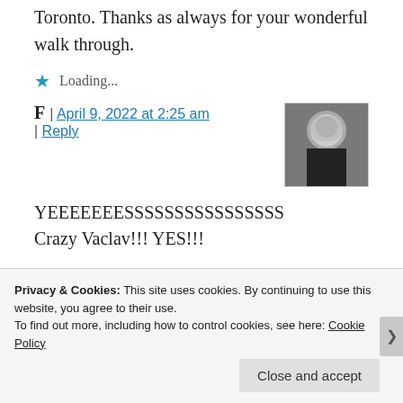Toronto. Thanks as always for your wonderful walk through.
Loading...
F | April 9, 2022 at 2:25 am | Reply
[Figure (photo): Avatar image of commenter F showing person holding something in front of face, wearing dark shirt]
YEEEEEEESSSSSSSSSSSSSSSS
Crazy Vaclav!!! YES!!!
Loading...
TallSpiderCandy |
Privacy & Cookies: This site uses cookies. By continuing to use this website, you agree to their use. To find out more, including how to control cookies, see here: Cookie Policy
Close and accept